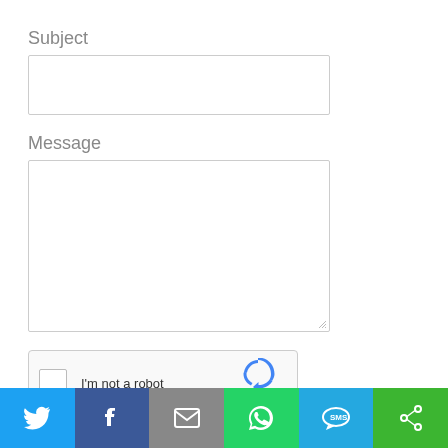Subject
[Figure (screenshot): Subject input text field (empty)]
Message
[Figure (screenshot): Message textarea input (empty, resizable)]
[Figure (screenshot): reCAPTCHA widget with checkbox 'I'm not a robot', reCAPTCHA logo, Privacy and Terms links]
[Figure (screenshot): Submit button with dark blue border]
[Figure (screenshot): Social sharing bar with Twitter, Facebook, Email, WhatsApp, SMS, and Share icons]